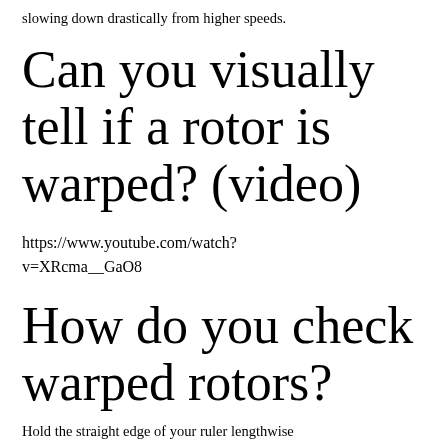slowing down drastically from higher speeds.
Can you visually tell if a rotor is warped? (video)
https://www.youtube.com/watch?v=XRcma__GaO8
How do you check warped rotors?
Hold the straight edge of your ruler lengthwise